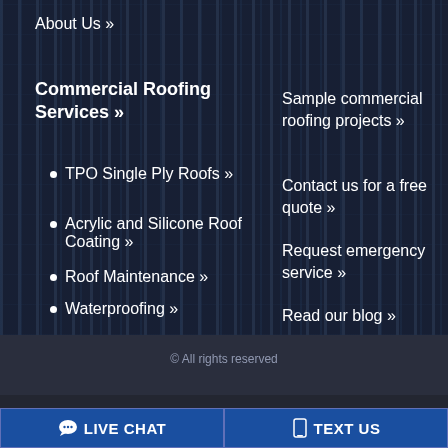About Us »
Commercial Roofing Services »
TPO Single Ply Roofs »
Acrylic and Silicone Roof Coating »
Roof Maintenance »
Waterproofing »
Sample commercial roofing projects »
Contact us for a free quote »
Request emergency service »
Read our blog »
© All rights reserved
LIVE CHAT
TEXT US